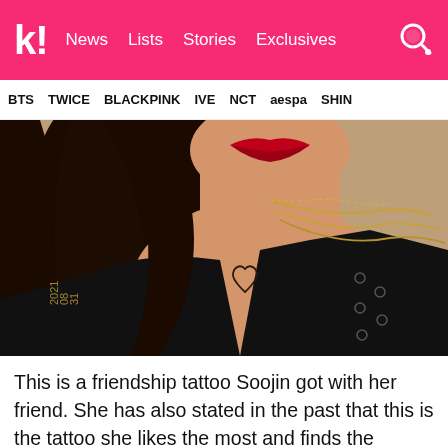k! News Lists Stories Exclusives
BTS TWICE BLACKPINK IVE NCT aespa SHINE
[Figure (photo): Close-up photo of a woman with dark hair, red lips, wearing a black top with gold chain necklaces, and a small heart tattoo on her shoulder]
This is a friendship tattoo Soojin got with her friend. She has also stated in the past that this is the tattoo she likes the most and finds the